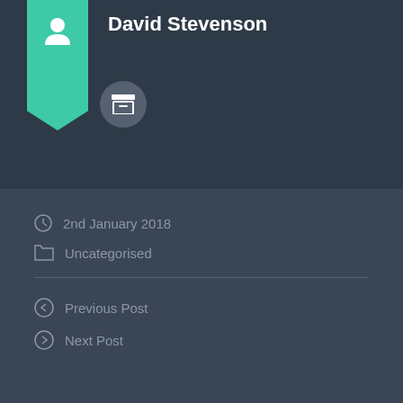David Stevenson
2nd January 2018
Uncategorised
Previous Post
Next Post
Leave a Reply
Your email address will not be published.